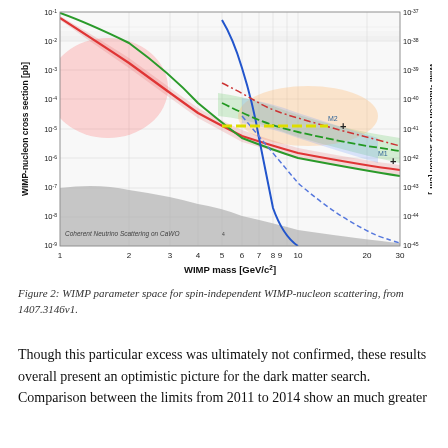[Figure (continuous-plot): WIMP parameter space plot for spin-independent WIMP-nucleon scattering. Log-log plot with WIMP mass [GeV/c^2] on x-axis (1 to 30) and WIMP-nucleon cross section [pb] on left y-axis (10^-9 to 10^-1) and [cm^2] on right y-axis (10^-45 to 10^-37). Contains multiple curves: red solid curve (exclusion limit), green solid curve, blue solid curve (going deep), blue dashed curve, red dashed-dot curve, green dashed curve (M1 and M2 markers with + symbols), yellow dashed horizontal line, and shaded regions in pink, green, orange, and blue. Gray shaded region at bottom labeled 'Coherent Neutrino Scattering on CaWO4'.]
Figure 2: WIMP parameter space for spin-independent WIMP-nucleon scattering, from 1407.3146v1.
Though this particular excess was ultimately not confirmed, these results overall present an optimistic picture for the dark matter search. Comparison between the limits from 2011 to 2014 show an much greater